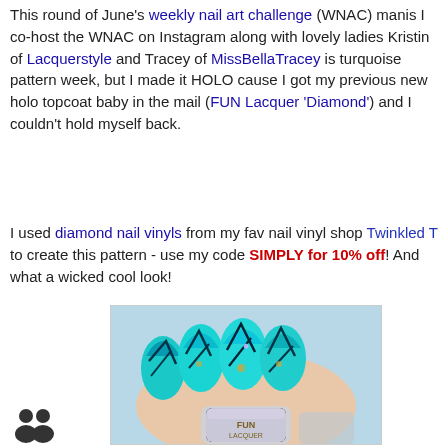This round of June's weekly nail art challenge (WNAC) manis I co-host the WNAC on Instagram along with lovely ladies Kristin of Lacquerstyle and Tracey of MissBellaTracey is turquoise pattern week, but I made it HOLO cause I got my previous new holo topcoat baby in the mail (FUN Lacquer 'Diamond') and I couldn't hold myself back.
I used diamond nail vinyls from my fav nail vinyl shop Twinkled T to create this pattern - use my code SIMPLY for 10% off! And what a wicked cool look!
[Figure (photo): Close-up photo of a hand with turquoise holographic nail art featuring a diamond/cracked pattern using nail vinyls, with a FUN Lacquer nail polish bottle visible at the bottom.]